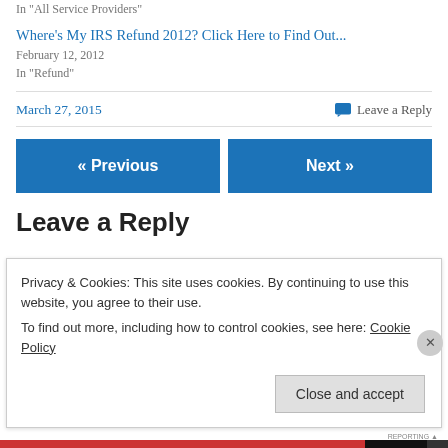In "All Service Providers"
Where's My IRS Refund 2012? Click Here to Find Out...
February 12, 2012
In "Refund"
March 27, 2015
Leave a Reply
« Previous
Next »
Leave a Reply
Privacy & Cookies: This site uses cookies. By continuing to use this website, you agree to their use.
To find out more, including how to control cookies, see here: Cookie Policy
Close and accept